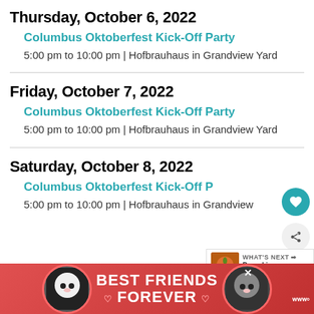Thursday, October 6, 2022
Columbus Oktoberfest Kick-Off Party
5:00 pm to 10:00 pm | Hofbrauhaus in Grandview Yard
Friday, October 7, 2022
Columbus Oktoberfest Kick-Off Party
5:00 pm to 10:00 pm | Hofbrauhaus in Grandview Yard
Saturday, October 8, 2022
Columbus Oktoberfest Kick-Off P...
5:00 pm to 10:00 pm | Hofbrauhaus in Grandview
[Figure (illustration): Ad banner: Best Friends Forever with two cats]
[Figure (infographic): What's Next overlay with pumpkin image and text 'Pumpkin EVERYTHIN...']